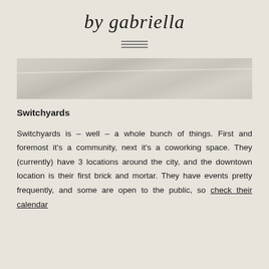by gabriella
[Figure (photo): A close-up photo of what appears to be a pale wooden or marble surface with a diagonal streak or edge, showing texture in beige/grey tones.]
Switchyards
Switchyards is – well – a whole bunch of things. First and foremost it's a community, next it's a coworking space. They (currently) have 3 locations around the city, and the downtown location is their first brick and mortar. They have events pretty frequently, and some are open to the public, so check their calendar